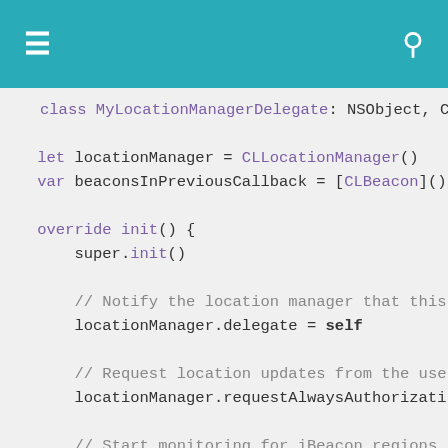≡  [search icon]
class MyLocationManagerDelegate: NSObject, CLLo

    let locationManager = CLLocationManager()
    var beaconsInPreviousCallback = [CLBeacon]()

    override init() {
        super.init()

        // Notify the location manager that this
        locationManager.delegate = self

        // Request location updates from the use
        locationManager.requestAlwaysAuthorizati

        // Start monitoring for iBeacon regions
        startTrackingBeaconRegion()
    }

    private func startTrackingBeaconRegion()